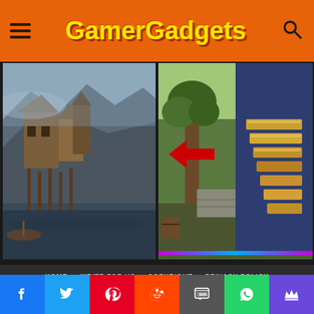GamerGadgets
[Figure (screenshot): Screenshot of a medieval harbor settlement with wooden structures built on rocky cliffs over dark water, with a small boat visible]
[Figure (screenshot): Screenshot collage of two game images: left shows a tree in an outdoor environment with a red arrow, right shows golden stair-like structures with a blue tint]
HOME   WRITE FOR US   COPYRIGHT   PRIVACY POLICY
CONTACT US
LATEST NEWS
Facebook | Twitter | Pinterest | Reddit | SMS | WhatsApp | Crown